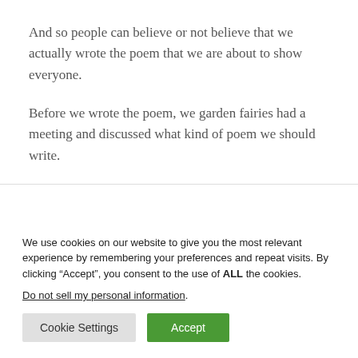And so people can believe or not believe that we actually wrote the poem that we are about to show everyone.
Before we wrote the poem, we garden fairies had a meeting and discussed what kind of poem we should write.
We use cookies on our website to give you the most relevant experience by remembering your preferences and repeat visits. By clicking “Accept”, you consent to the use of ALL the cookies.
Do not sell my personal information.